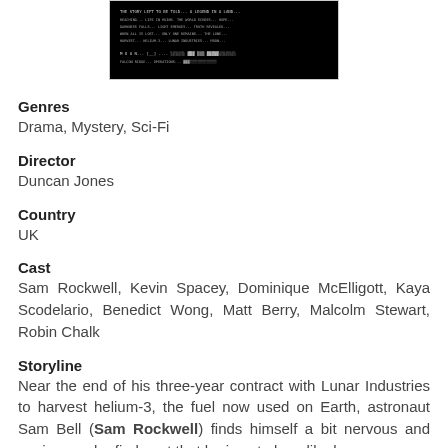[Figure (screenshot): A dark movie still or title card with white text on black background]
Genres
Drama, Mystery, Sci-Fi
Director
Duncan Jones
Country
UK
Cast
Sam Rockwell, Kevin Spacey, Dominique McElligott, Kaya Scodelario, Benedict Wong, Matt Berry, Malcolm Stewart, Robin Chalk
Storyline
Near the end of his three-year contract with Lunar Industries to harvest helium-3, the fuel now used on Earth, astronaut Sam Bell (Sam Rockwell) finds himself a bit nervous and anxious as he finds out that he is not alone like he was supposed to be.